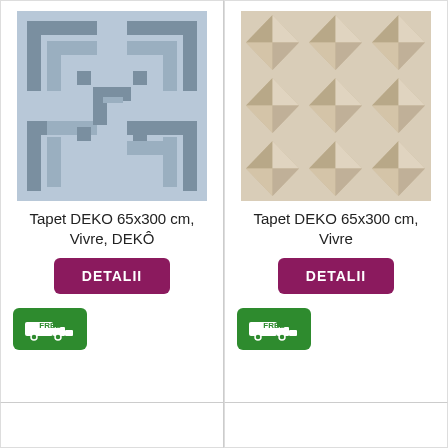[Figure (illustration): Blue/grey geometric maze-like tile pattern]
Tapet DEKO 65x300 cm, Vivre, DEKÔ
DETALII
[Figure (illustration): Free delivery badge with truck icon]
[Figure (illustration): Beige/cream geometric diamond tile pattern]
Tapet DEKO 65x300 cm, Vivre
DETALII
[Figure (illustration): Free delivery badge with truck icon]